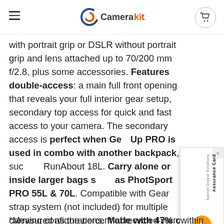Camerakit.ie
with portrait grip or DSLR without portrait grip and lens attached up to 70/200 mm f/2.8, plus some accessories. Features double-access: a main full front opening that reveals your full interior gear setup, secondary top access for quick and fast access to your camera. The secondary access is perfect when GearUp PRO is used in combo with another backpack, such as RunAbout 18L. Carry alone or inside larger bags such as PhotSport PRO 55L & 70L. Compatible with GearUp strap system (not included) for multiple carrying configurations. Made with 47% of recycled fabric*, GearUp PRO keeps your camera and accessories packed, protected and ready to shoot.
*Measured as the percent of recycled yarn within the